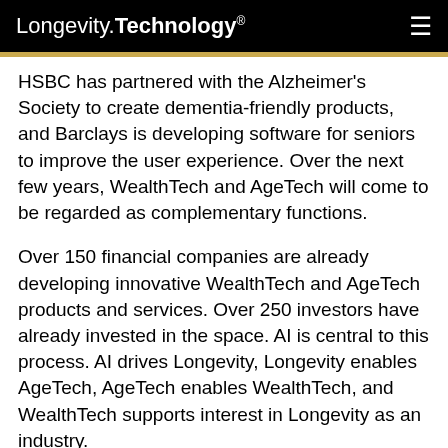Longevity.Technology®
HSBC has partnered with the Alzheimer's Society to create dementia-friendly products, and Barclays is developing software for seniors to improve the user experience. Over the next few years, WealthTech and AgeTech will come to be regarded as complementary functions.
Over 150 financial companies are already developing innovative WealthTech and AgeTech products and services. Over 250 investors have already invested in the space. AI is central to this process. AI drives Longevity, Longevity enables AgeTech, AgeTech enables WealthTech, and WealthTech supports interest in Longevity as an industry.